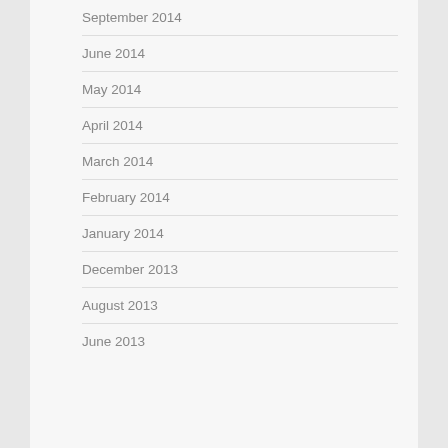September 2014
June 2014
May 2014
April 2014
March 2014
February 2014
January 2014
December 2013
August 2013
June 2013